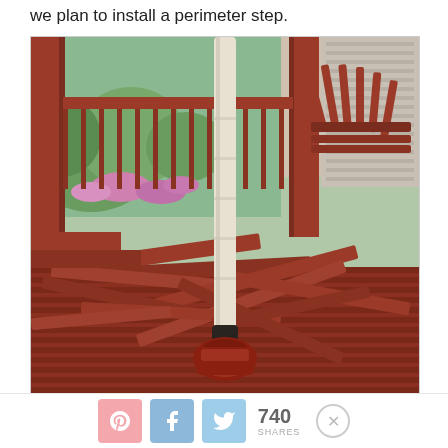we plan to install a perimeter step.
[Figure (photo): Photograph of a red-painted wooden deck under renovation. A sledgehammer with a white handle stands upright in the center foreground. Around it are scattered red-painted lumber planks and deck boards. In the background are red wooden posts, garden bushes with pink and purple flowers, and lawn furniture.]
740 SHARES